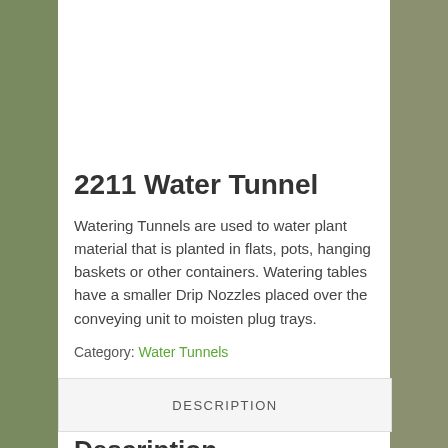[Figure (photo): Photo of a 2211 Water Tunnel machine — a yellow/gold-colored industrial watering conveyor apparatus with frame and nozzle assembly, shown against a white background]
2211 Water Tunnel
Watering Tunnels are used to water plant material that is planted in flats, pots, hanging baskets or other containers. Watering tables have a smaller Drip Nozzles placed over the conveying unit to moisten plug trays.
Category: Water Tunnels
DESCRIPTION
Description